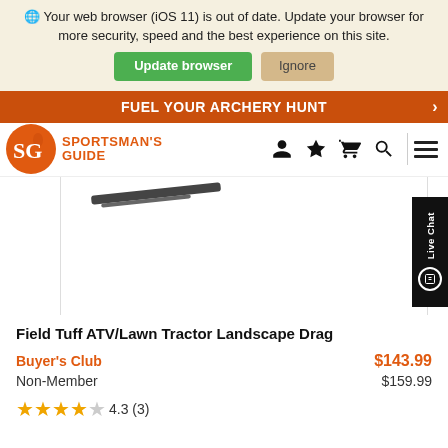🌐 Your web browser (iOS 11) is out of date. Update your browser for more security, speed and the best experience on this site.
Update browser | Ignore
FUEL YOUR ARCHERY HUNT
[Figure (logo): Sportsman's Guide logo with SG initials in orange circle and brand name text]
[Figure (photo): Partial view of Field Tuff ATV/Lawn Tractor Landscape Drag product image]
Field Tuff ATV/Lawn Tractor Landscape Drag
Buyer's Club $143.99
Non-Member $159.99
★★★★☆ 4.3 (3)